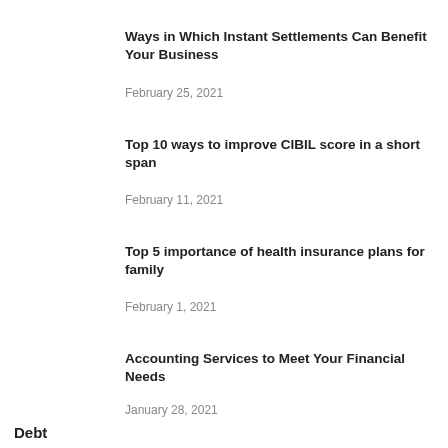Ways in Which Instant Settlements Can Benefit Your Business
February 25, 2021
Top 10 ways to improve CIBIL score in a short span
February 11, 2021
Top 5 importance of health insurance plans for family
February 1, 2021
Accounting Services to Meet Your Financial Needs
January 28, 2021
Debt